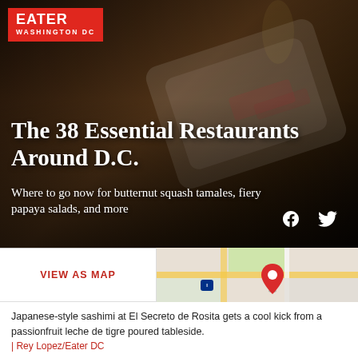EATER WASHINGTON DC
The 38 Essential Restaurants Around D.C.
Where to go now for butternut squash tamales, fiery papaya salads, and more
[Figure (screenshot): Map preview showing Google Maps view with red location pin and road/park overlay]
VIEW AS MAP
Japanese-style sashimi at El Secreto de Rosita gets a cool kick from a passionfruit leche de tigre poured tableside.
| Rey Lopez/Eater DC
by Tierney Plumb and Eater Staff | Updated Jul 12, 2022, 6:06pm EDT